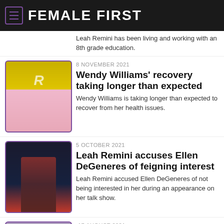FEMALE FIRST
Leah Remini has been living and working with an 8th grade education.
8 NOVEMBER 2021
Wendy Williams' recovery taking longer than expected
Wendy Williams is taking longer than expected to recover from her health issues.
5 OCTOBER 2021
Leah Remini accuses Ellen DeGeneres of feigning interest
Leah Remini accused Ellen DeGeneres of not being interested in her during an appearance on her talk show.
17 AUGUST 2021